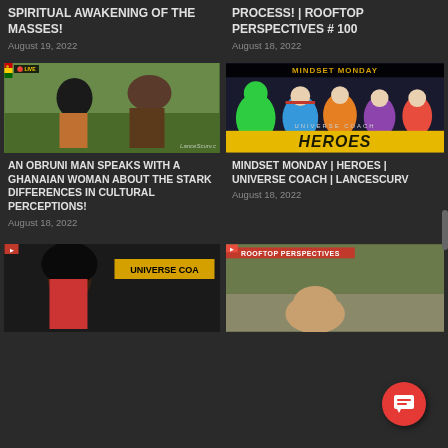SPIRITUAL AWAKENING OF THE MASSES!
August 19, 2022
PROCESS! | ROOFTOP PERSPECTIVES # 100
August 18, 2022
[Figure (photo): Interview scene outdoors with a man and woman talking, green landscape behind, LanceScurv watermark]
AN OBRUNI MAN SPEAKS WITH A GHANAIAN WOMAN ABOUT THE STARK DIFFERENCES IN CULTURAL PERCEPTIONS!
August 18, 2022
[Figure (photo): Superhero collage image with MINDSET MONDAY header and HEROES title overlay, UNIVERSE COACH branding]
MINDSET MONDAY | HEROES | UNIVERSE COACH | LANCESCURV
August 18, 2022
[Figure (photo): Woman with afro hair, UNIVERSE COACH branding overlay]
[Figure (photo): Bald man with ROOFTOP PERSPECTIVES tag, outdoor aerial view background]